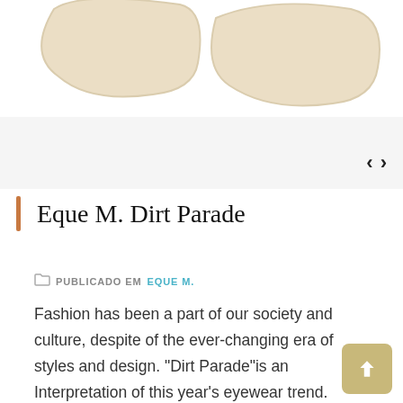[Figure (illustration): Partial view of eyewear/glasses frames in light cream/beige color against white background, cropped at top of page]
Eque M. Dirt Parade
PUBLICADO EM EQUE M.
Fashion has been a part of our society and culture, despite of the ever-changing era of styles and design. “Dirt Parade”is an Interpretation of this year’s eyewear trend. Stepping up with a perpetual piece that outlines your facial feature. Sleek pure titanium with one of the new temple design of Eque.M.